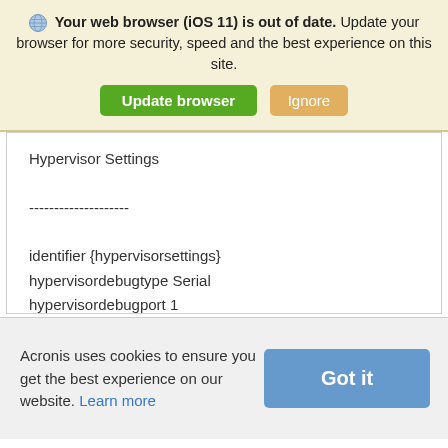Your web browser (iOS 11) is out of date. Update your browser for more security, speed and the best experience on this site. [Update browser] [Ignore]
Hypervisor Settings
--------------------
identifier {hypervisorsettings}
hypervisordebugtype Serial
hypervisordebugport 1
hypervisorbaudrate 115200

Resume Loader Settings
--------------------
Acronis uses cookies to ensure you get the best experience on our website. Learn more [Got it]